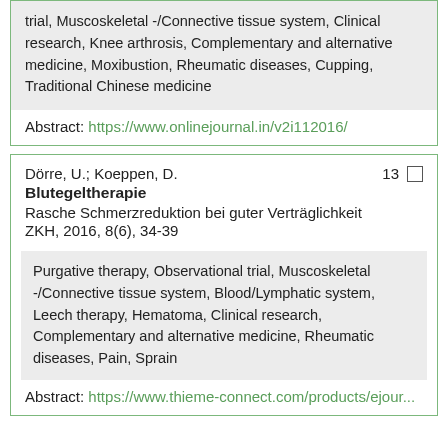trial, Muscoskeletal -/Connective tissue system, Clinical research, Knee arthrosis, Complementary and alternative medicine, Moxibustion, Rheumatic diseases, Cupping, Traditional Chinese medicine
Abstract: https://www.onlinejournal.in/v2i112016/
Dörre, U.; Koeppen, D.  13
Blutegeltherapie
Rasche Schmerzreduktion bei guter Verträglichkeit
ZKH, 2016, 8(6), 34-39
Purgative therapy, Observational trial, Muscoskeletal -/Connective tissue system, Blood/Lymphatic system, Leech therapy, Hematoma, Clinical research, Complementary and alternative medicine, Rheumatic diseases, Pain, Sprain
Abstract: https://www.thieme-connect.com/products/ejour...